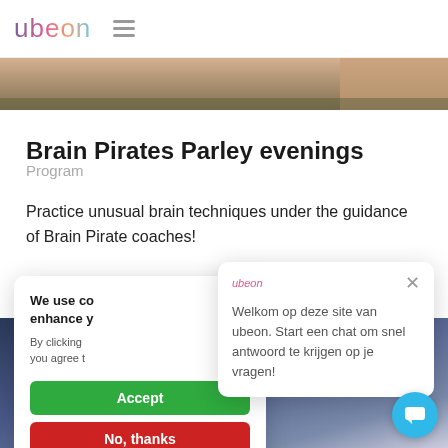[Figure (screenshot): Ubeon website header with logo and hamburger menu]
[Figure (photo): Top cropped photo strip showing a person's hand]
Brain Pirates Parley evenings
Program
Practice unusual brain techniques under the guidance of Brain Pirate coaches!
We use co enhance y
By clicking you agree t
Accept
No, thanks
Welkom op deze site van ubeon. Start een chat om snel antwoord te krijgen op je vragen!
[Figure (photo): Bottom photo of person holding device with DATA visible on screen]